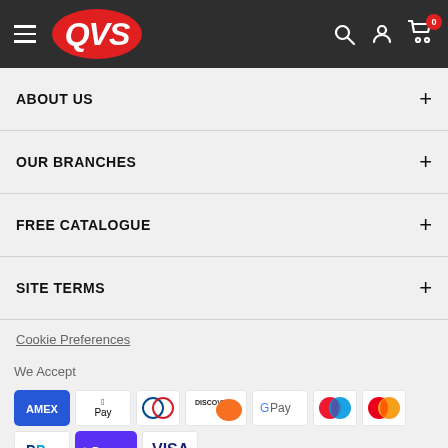QVS - Navigation Header with logo, search, account, and cart
ABOUT US
OUR BRANCHES
FREE CATALOGUE
SITE TERMS
Cookie Preferences
We Accept
[Figure (logo): Payment method icons: AMEX, Apple Pay, Diners Club, Discover, Google Pay, Maestro, Mastercard, PayPal, Shop Pay, Visa]